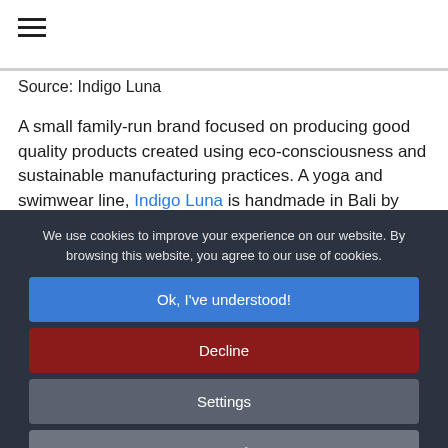≡
Source: Indigo Luna
A small family-run brand focused on producing good quality products created using eco-consciousness and sustainable manufacturing practices. A yoga and swimwear line, Indigo Luna is handmade in Bali by women-owned and operated factories. Using
We use cookies to improve your experience on our website. By browsing this website, you agree to our use of cookies.
Ok, I've understood!
Decline
Settings
More Info